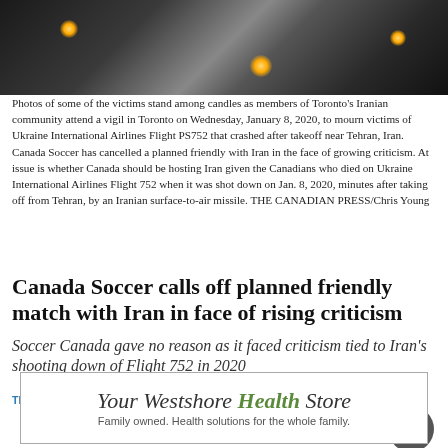[Figure (photo): Photo of candles at a vigil, dark background with candlelight glowing]
Photos of some of the victims stand among candles as members of Toronto's Iranian community attend a vigil in Toronto on Wednesday, January 8, 2020, to mourn victims of Ukraine International Airlines Flight PS752 that crashed after takeoff near Tehran, Iran. Canada Soccer has cancelled a planned friendly with Iran in the face of growing criticism. At issue is whether Canada should be hosting Iran given the Canadians who died on Ukraine International Airlines Flight 752 when it was shot down on Jan. 8, 2020, minutes after taking off from Tehran, by an Iranian surface-to-air missile. THE CANADIAN PRESS/Chris Young
Canada Soccer calls off planned friendly match with Iran in face of rising criticism
Soccer Canada gave no reason as it faced criticism tied to Iran's shooting down of Flight 752 in 2020
THE CANADIAN PRESS / May. 26, 2022 7:30 a.m. / CANADA &
[Figure (illustration): Advertisement for Your Westshore Health Store — Family owned. Health solutions for the whole family.]